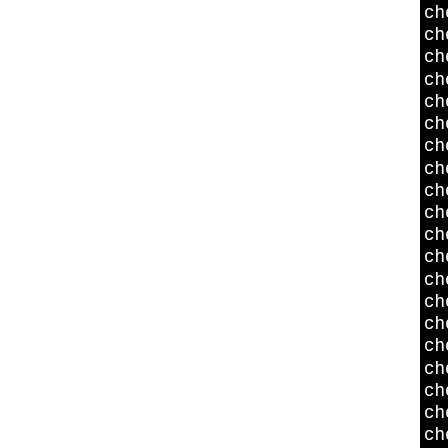[Figure (screenshot): Terminal/console output showing a series of 'checking ...' lines from an autoconf/configure script. The left portion of the page is white, and the right portion shows a black terminal with white monospace text. Lines include checks for athlon-pld-l, ranlib, lynx, grep, egrep, ANSI C headers, sys/types.h, sys/stat.h, stdlib.h, string.h, memory.h, strings.h, inttypes.h, stdint.h, unistd.h, minix/config.h, library, APR version, APR-util version, and ANSI C headers.]